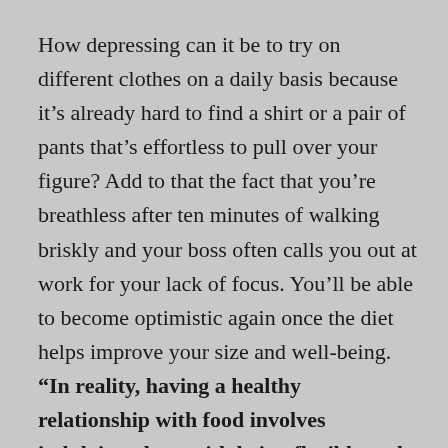How depressing can it be to try on different clothes on a daily basis because it's already hard to find a shirt or a pair of pants that's effortless to pull over your figure? Add to that the fact that you're breathless after ten minutes of walking briskly and your boss often calls you out at work for your lack of focus. You'll be able to become optimistic again once the diet helps improve your size and well-being. “In reality, having a healthy relationship with food involves indulging along with being flexible and kind to yourself,” explains Rachel Goldman, Ph.D., a clinical psychologist focused on health and wellness